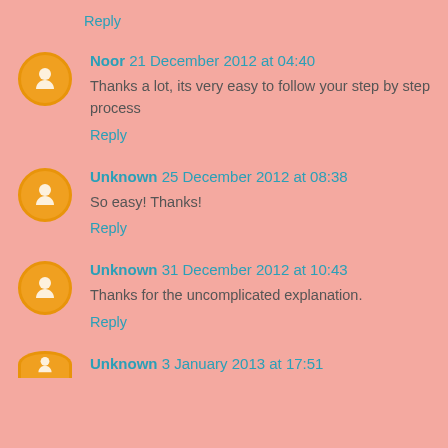Reply
Noor 21 December 2012 at 04:40
Thanks a lot, its very easy to follow your step by step process
Reply
Unknown 25 December 2012 at 08:38
So easy! Thanks!
Reply
Unknown 31 December 2012 at 10:43
Thanks for the uncomplicated explanation.
Reply
Unknown 3 January 2013 at 17:51